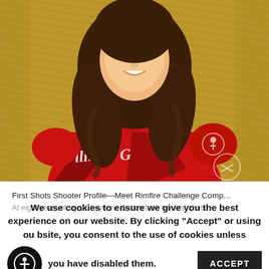[Figure (photo): Young woman with long brown curly hair smiling, wearing a red sports jersey with logos, posed in front of hay bales]
First Shots Shooter Profile—Meet Rimfire Challenge Comp...
At eight years of age, Cheyenne Dalton took her first shots
We use cookies to ensure we give you the best experience on our website. By clicking "Accept" or using our website, you consent to the use of cookies unless you have disabled them.
ACCEPT